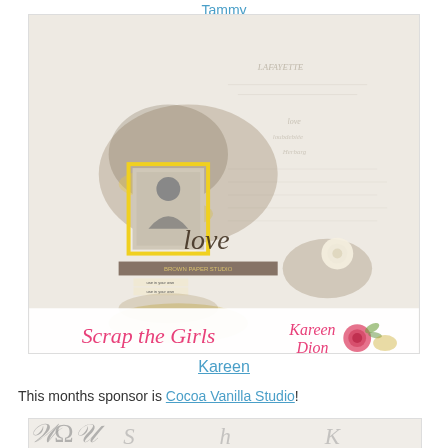Tammy
[Figure (photo): Scrapbook layout page featuring a vintage-style design with yellow and brown floral elements, a black and white portrait photo in a yellow frame, the word 'love' in script, and text reading 'Scrap the Girls' on the left and 'Kareen Dion' with a rose on the right, on a distressed light background with handwritten script.]
Kareen
This months sponsor is Cocoa Vanilla Studio!
[Figure (photo): Partial view of the bottom of another scrapbook layout, showing partial cursive/script lettering.]